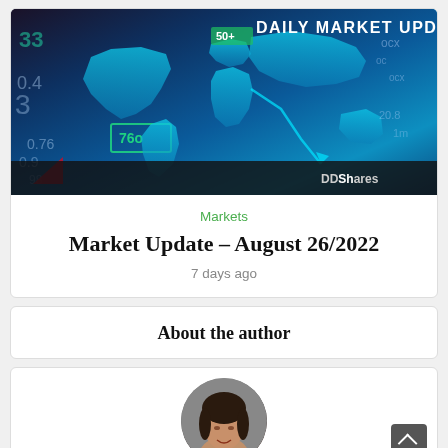[Figure (photo): Daily Market Update banner image with world map on dark blue background with financial numbers, branded DDShares]
Markets
Market Update – August 26/2022
7 days ago
About the author
[Figure (photo): Circular portrait photo of a woman with dark hair]